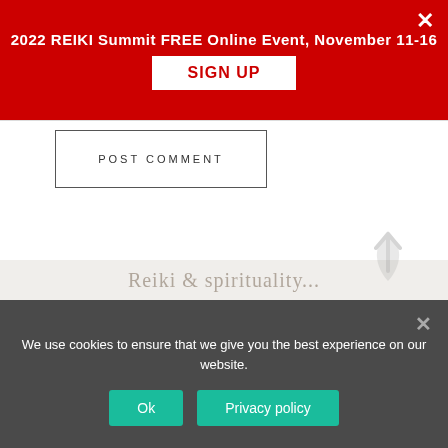2022 REIKI Summit FREE Online Event, November 11-16
SIGN UP
POST COMMENT
Search this website
We use cookies to ensure that we give you the best experience on our website.
Ok
Privacy policy